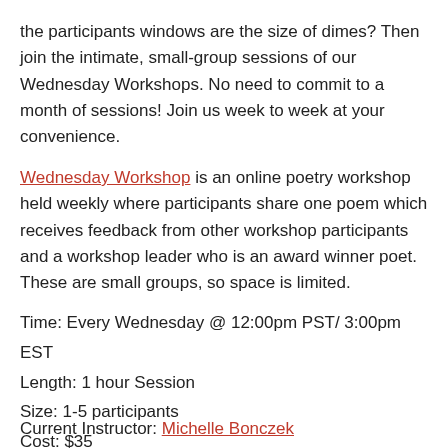the participants windows are the size of dimes? Then join the intimate, small-group sessions of our Wednesday Workshops. No need to commit to a month of sessions! Join us week to week at your convenience.
Wednesday Workshop is an online poetry workshop held weekly where participants share one poem which receives feedback from other workshop participants and a workshop leader who is an award winner poet. These are small groups, so space is limited.
Time: Every Wednesday @ 12:00pm PST/ 3:00pm EST
Length: 1 hour Session
Size: 1-5 participants
Cost: $35
Current Instructor: Michelle Bonczek